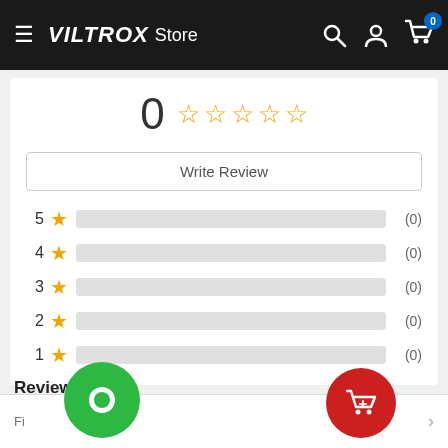[Figure (screenshot): VILTROX Store website header with hamburger menu, logo, search, account, and cart icons]
[Figure (other): Product review rating panel showing overall score 0 with 5 empty stars, Write Review button, and star rating bars for 5 through 1 stars each showing (0) reviews]
Reviews (0)
[Figure (other): Green chat bubble floating button and red shopping bag floating button at the bottom of the page]